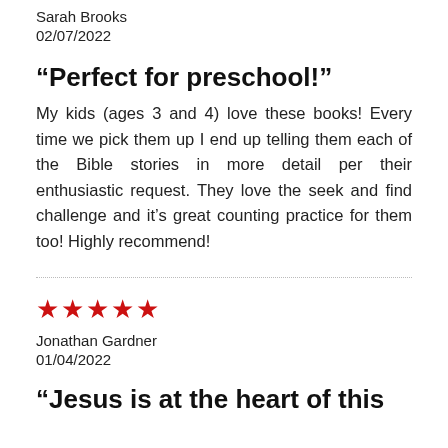Sarah Brooks
02/07/2022
“Perfect for preschool!”
My kids (ages 3 and 4) love these books! Every time we pick them up I end up telling them each of the Bible stories in more detail per their enthusiastic request. They love the seek and find challenge and it’s great counting practice for them too! Highly recommend!
★★★★★
Jonathan Gardner
01/04/2022
“Jesus is at the heart of this